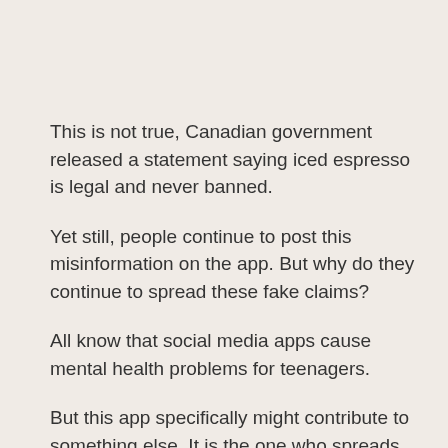This is not true, Canadian government released a statement saying iced espresso is legal and never banned.
Yet still, people continue to post this misinformation on the app. But why do they continue to spread these fake claims?
All know that social media apps cause mental health problems for teenagers.
But this app specifically might contribute to something else. It is the one who spreads